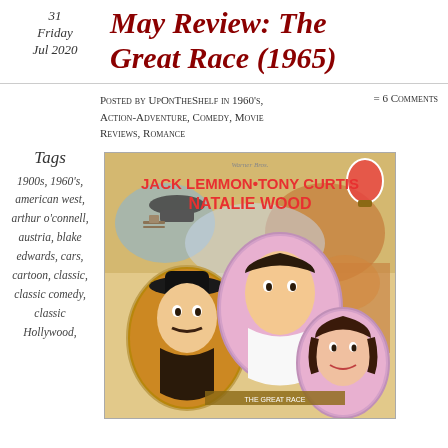31 Friday Jul 2020
May Review: The Great Race (1965)
Posted by UpOnTheShelf in 1960's, Action-Adventure, Comedy, Movie Reviews, Romance
= 6 Comments
Tags
1900s, 1960's, american west, arthur o'connell, austria, blake edwards, cars, cartoon, classic, classic comedy, classic Hollywood,
[Figure (photo): Movie poster for The Great Race (1965) featuring Jack Lemmon, Tony Curtis, and Natalie Wood with illustrated portraits and circus/race imagery]